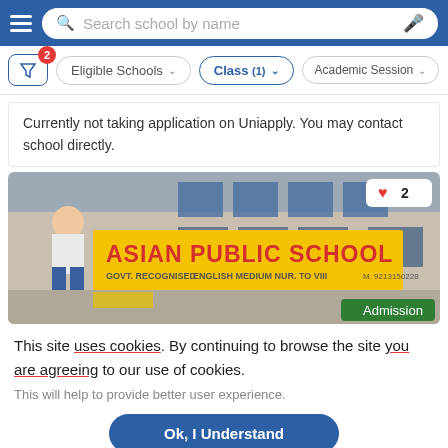Search school by name
2   Eligible Schools   Class (1)   Academic Session
Currently not taking application on Uniapply. You may contact school directly.
[Figure (photo): Photo of Asian Public School building with yellow signboard reading 'ASIAN PUBLIC SCHOOL - GOVT. RECOGNISED ENGLISH MEDIUM NUR. TO VIII - M. 9213150228'. Heart icon with count 2 in top right, Admission badge in bottom right.]
This site uses cookies. By continuing to browse the site you are agreeing to our use of cookies.
This will help to provide better user experience.
Ok, I Understand